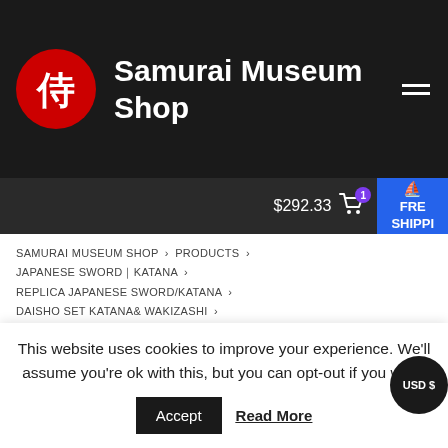Samurai Museum Shop
$292.33  FREE SHIPPING  USD $
SAMURAI MUSEUM SHOP > PRODUCTS > JAPANESE SWORD｜KATANA > REPLICA JAPANESE SWORD/KATANA > DAISHO SET KATANA& WAKIZASHI > SAMURAI SWORD WHITE KINUN DAISHO SET KATANA｜WAKIZASHI
Updated: 23 Aug 2022
This website uses cookies to improve your experience. We'll assume you're ok with this, but you can opt-out if you wish.
Accept  Read More